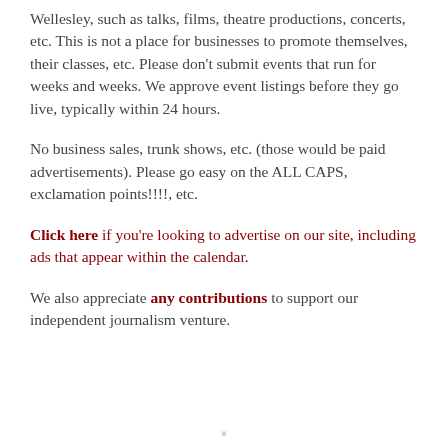Wellesley, such as talks, films, theatre productions, concerts, etc. This is not a place for businesses to promote themselves, their classes, etc. Please don't submit events that run for weeks and weeks. We approve event listings before they go live, typically within 24 hours.
No business sales, trunk shows, etc. (those would be paid advertisements). Please go easy on the ALL CAPS, exclamation points!!!!, etc.
Click here if you're looking to advertise on our site, including ads that appear within the calendar.
We also appreciate any contributions to support our independent journalism venture.
×